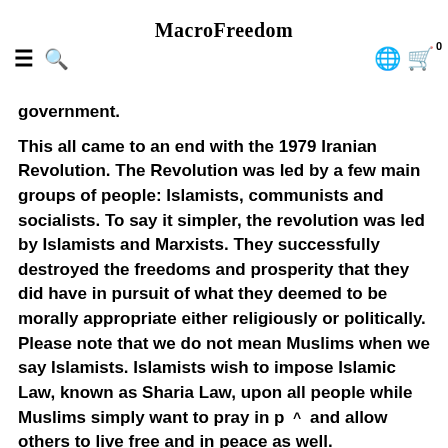MacroFreedom
government.
This all came to an end with the 1979 Iranian Revolution. The Revolution was led by a few main groups of people: Islamists, communists and socialists. To say it simpler, the revolution was led by Islamists and Marxists. They successfully destroyed the freedoms and prosperity that they did have in pursuit of what they deemed to be morally appropriate either religiously or politically. Please note that we do not mean Muslims when we say Islamists. Islamists wish to impose Islamic Law, known as Sharia Law, upon all people while Muslims simply want to pray in p  ^   and allow others to live free and in peace as well.